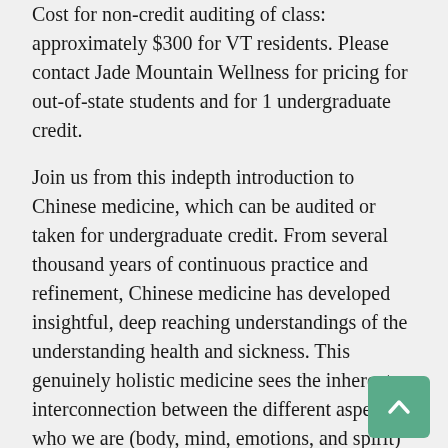Cost for non-credit auditing of class: approximately $300 for VT residents. Please contact Jade Mountain Wellness for pricing for out-of-state students and for 1 undergraduate credit.
Join us from this indepth introduction to Chinese medicine, which can be audited or taken for undergraduate credit. From several thousand years of continuous practice and refinement, Chinese medicine has developed insightful, deep reaching understandings of the understanding health and sickness. This genuinely holistic medicine sees the inherent interconnection between the different aspects of who we are (body, mind, emotions, and spirit) and the inherent interconnection between us and the people and the world around us.
We will discuss questions such as: What is health? What are symptoms? How are we connected to the